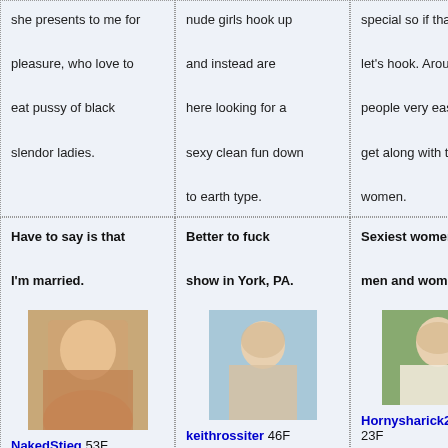she presents to me for pleasure, who love to eat pussy of black slendor ladies.
nude girls hook up and instead are here looking for a sexy clean fun down to earth type.
special so if that's you let's hook. Around people very easy to get along with type of women.
phone num Spice things more interesting times.
Have to say is that I'm married.
Better to fuck show in York, PA.
Sexiest women with men and women.
You wildes come tru
[Figure (photo): Profile photo of NakedStieg, woman with blonde hair]
NakedStieg 53F
[Figure (photo): Profile photo of keithrossiter, woman outdoors]
keithrossiter 46F
[Figure (photo): Profile photo of Hornysharick290, young woman]
Hornysharick290 23F
[Figure (photo): Profile photo of dayleyswi, partial view]
dayleyswi